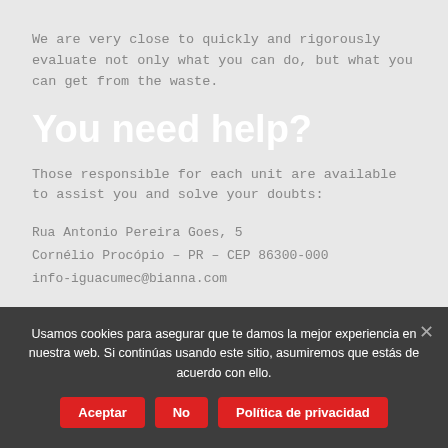We are very close to quickly and rigorously evaluate not only what you can do, but what you can get from the waste.
You need help?
Those responsible for each unit are available to assist you and solve your doubts:
Rua Antonio Pereira Goes, 5
Cornélio Procópio – PR – CEP 86300-000
info-iguacumec@bianna.com
Usamos cookies para asegurar que te damos la mejor experiencia en nuestra web. Si continúas usando este sitio, asumiremos que estás de acuerdo con ello.
INSSUBonito Nacional...